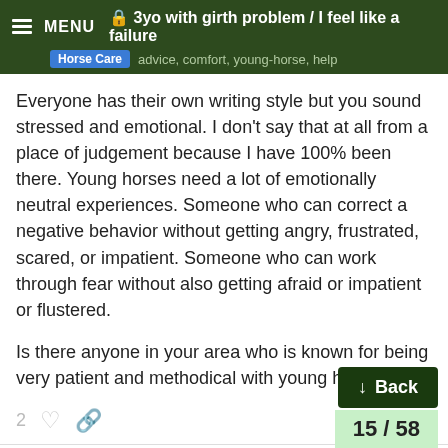🔒 3yo with girth problem / I feel like a failure — Horse Care  advice, comfort, young-horse, help
Everyone has their own writing style but you sound stressed and emotional. I don't say that at all from a place of judgement because I have 100% been there. Young horses need a lot of emotionally neutral experiences. Someone who can correct a negative behavior without getting angry, frustrated, scared, or impatient. Someone who can work through fear without also getting afraid or impatient or flustered.
Is there anyone in your area who is known for being very patient and methodical with young horses?
Giulia  Nov '20
I'm emotional when I'm not around my ho... e here. To find relief.